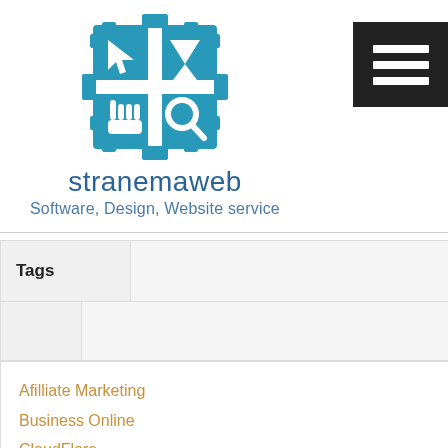[Figure (logo): stranemaweb logo: a circular gear-like icon divided into four quadrants with pixel/tech style icons (cursor arrow, hourglass, hand pointer, magnifier) in teal/blue color]
stranemaweb
Software, Design, Website service
Tags
Afilliate Marketing
Business Online
CloudFlare
Computer, Electronic & Gadget